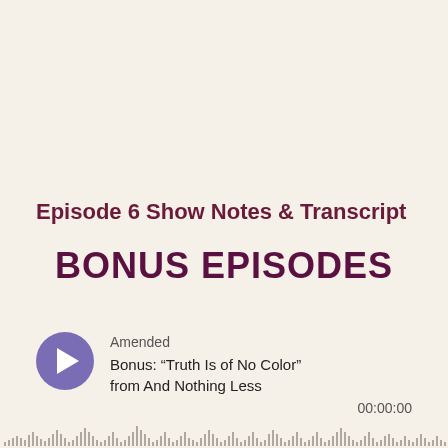Episode 6 Show Notes & Transcript
BONUS EPISODES
Amended
Bonus: “Truth Is of No Color” from And Nothing Less
00:00:00
[Figure (other): Audio waveform bar visualization at the bottom of the page]